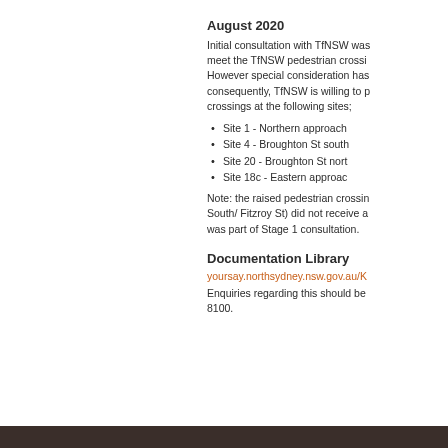August 2020
Initial consultation with TfNSW was meet the TfNSW pedestrian crossi However special consideration has consequently, TfNSW is willing to p crossings at the following sites;
Site 1 - Northern approach
Site 4 - Broughton St south
Site 20 - Broughton St nort
Site 18c - Eastern approac
Note: the raised pedestrian crossin South/ Fitzroy St) did not receive a was part of Stage 1 consultation.
Documentation Library
yoursay.northsydney.nsw.gov.au/K
Enquiries regarding this should be 8100.